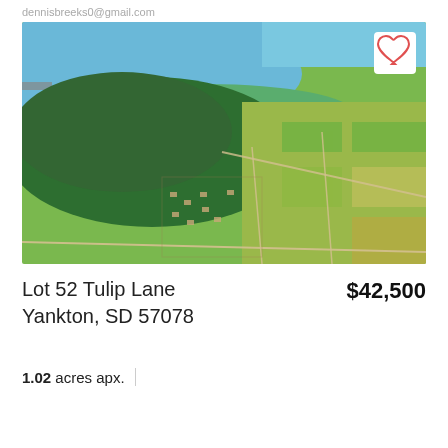dennisbreeks0@gmail.com
[Figure (photo): Aerial photograph of residential subdivision near a river with green fields, forested areas, and houses along grid streets in Yankton, SD area]
Lot 52 Tulip Lane
Yankton, SD 57078
$42,500
1.02 acres apx.